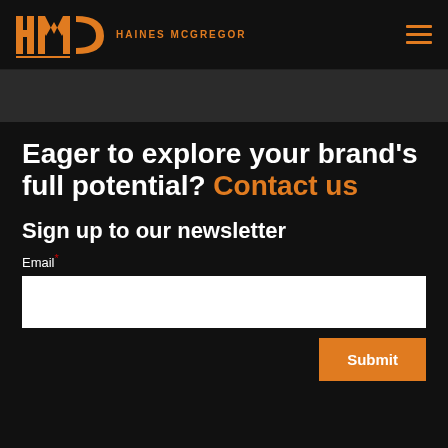HMC HAINES MCGREGOR
Eager to explore your brand's full potential? Contact us
Sign up to our newsletter
Email*
Submit